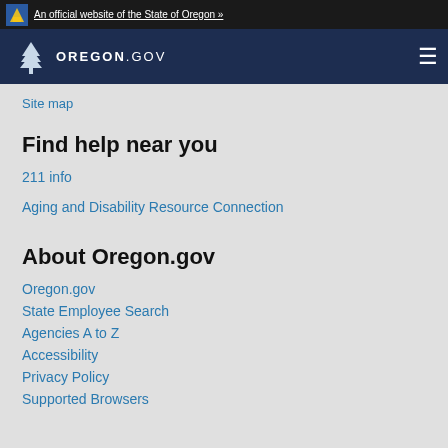An official website of the State of Oregon »
[Figure (logo): Oregon.gov logo with tree icon on dark navy navigation bar]
Site map
Find help near you
211 info
Aging and Disability Resource Connection
About Oregon.gov
Oregon.gov
State Employee Search
Agencies A to Z
Accessibility
Privacy Policy
Supported Browsers